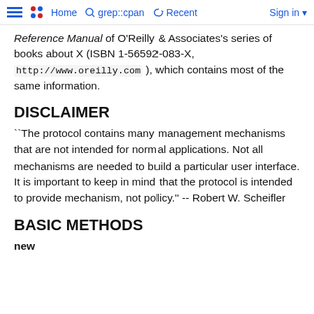Home   grep::cpan   Recent   Sign in
Reference Manual of O'Reilly & Associates's series of books about X (ISBN 1-56592-083-X, http://www.oreilly.com ), which contains most of the same information.
DISCLAIMER
``The protocol contains many management mechanisms that are not intended for normal applications. Not all mechanisms are needed to build a particular user interface. It is important to keep in mind that the protocol is intended to provide mechanism, not policy." -- Robert W. Scheifler
BASIC METHODS
new